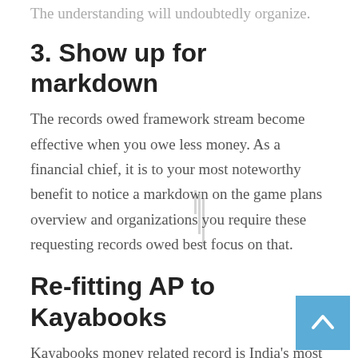The understanding will undoubtedly organize.
3. Show up for markdown
The records owed framework stream become effective when you owe less money. As a financial chief, it is to your most noteworthy benefit to notice a markdown on the game plans overview and organizations you require these requesting records owed best focus on that.
Re-fitting AP to Kayabooks
Kayabooks money related record is India's most critical bookkeeping solid that has a general presence and besides gives its organizations of payables account the board. The way accounting services in Omaha on an extraordinarily normal